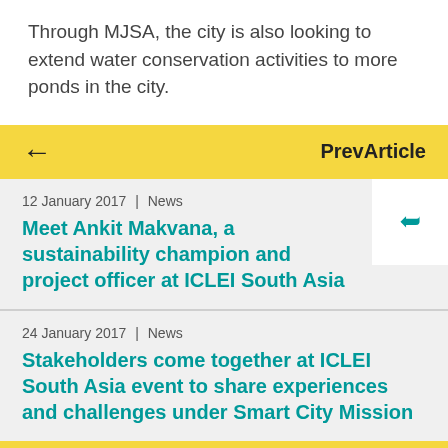Through MJSA, the city is also looking to extend water conservation activities to more ponds in the city.
← PrevArticle
12 January 2017 | News
Meet Ankit Makvana, a sustainability champion and project officer at ICLEI South Asia
24 January 2017 | News
Stakeholders come together at ICLEI South Asia event to share experiences and challenges under Smart City Mission
NextArticle →